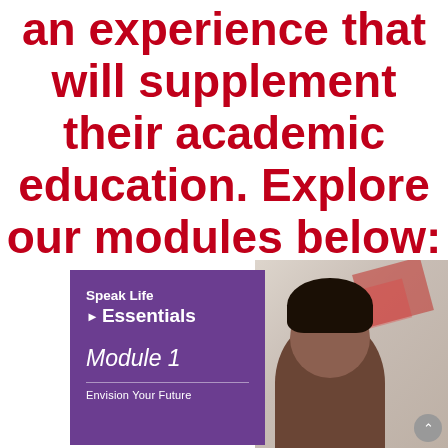an experience that will supplement their academic education. Explore our modules below:
[Figure (illustration): A purple book cover for 'Speak Life Essentials Module 1 - Envision Your Future' on the left, and a photo of a young person on the right with a blurred background featuring red stripes.]